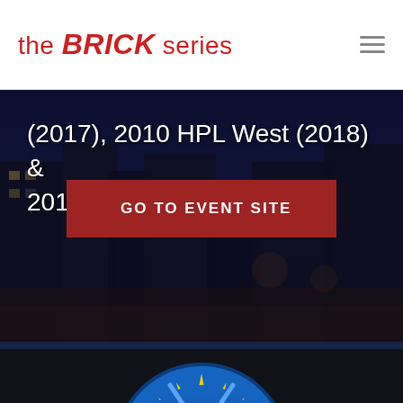the BRICK series
(2017), 2010 HPL West (2018) & 2011 Junior Bruins (2019).
GO TO EVENT SITE
[Figure (logo): SoCal FreezeOut logo — circular badge with blue border, yellow star burst, white script 'SoCal' text and 'FREEZEOUT' banner below, hockey stick accents at top]